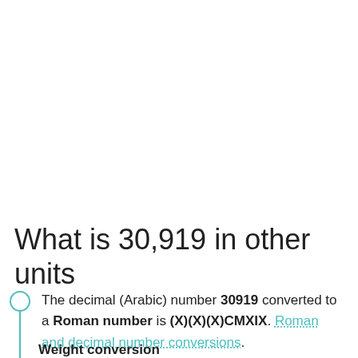What is 30,919 in other units
The decimal (Arabic) number 30919 converted to a Roman number is (X)(X)(X)CMXIX. Roman and decimal number conversions.
Weight conversion